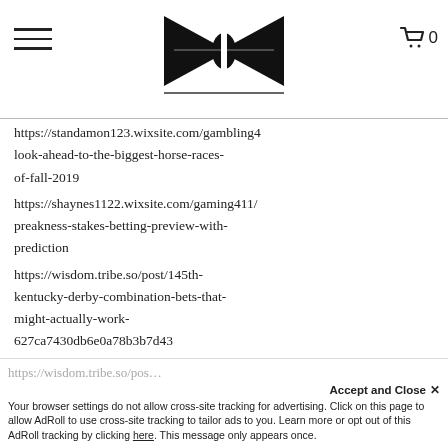[Figure (logo): Stylized bow-tie/bowtie logo with vertical line in center, black on white]
https://standamon123.wixsite.com/gambling4 look-ahead-to-the-biggest-horse-races-of-fall-2019
https://shaynes1122.wixsite.com/gaming411/ preakness-stakes-betting-preview-with-prediction
https://wisdom.tribe.so/post/145th-kentucky-derby-combination-bets-that-might-actually-work-627ca7430db6e0a78b3b7d43
https://standamon123.wixsite.com/gambling4 look-ahead-to-the-biggest-horse-races-of-fall-2019
https://shaynes1122.wixsite.com/gaming411/ preakness-stakes-betting-preview-with-prediction
https://wisdom.tribe.so/post/145th-kentucky-derby-combination-bets-that-might-actually-work-627ca7430db6e0a78b3b7d43
Accept and Close ✕
Your browser settings do not allow cross-site tracking for advertising. Click on this page to allow AdRoll to use cross-site tracking to tailor ads to you. Learn more or opt out of this AdRoll tracking by clicking here. This message only appears once.